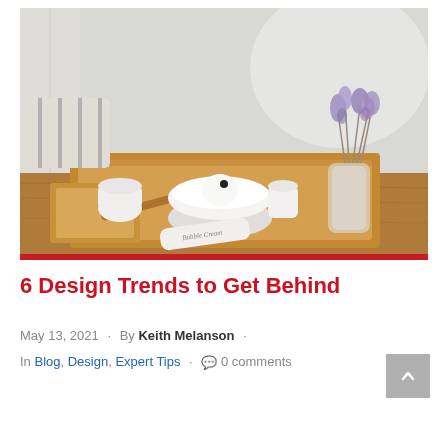[Figure (photo): A wooden tray on a table holding white ceramic bowls, small white ceramic vessels, a white tube product labeled 'Bubble Cream', a glass vase with dried purple flowers, with a striped pillow in the background against a light wall.]
6 Design Trends to Get Behind
May 13, 2021 · By Keith Melanson · In Blog, Design, Expert Tips · 0 comments